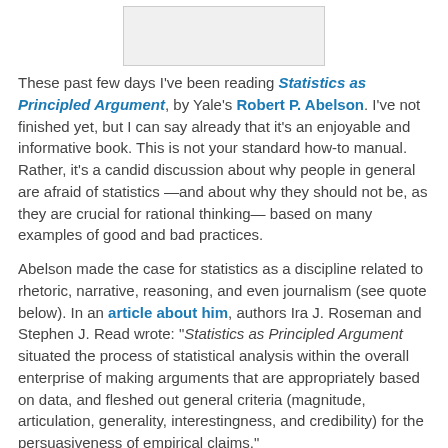[Figure (other): Image placeholder at top of page]
These past few days I've been reading Statistics as Principled Argument, by Yale's Robert P. Abelson. I've not finished yet, but I can say already that it's an enjoyable and informative book. This is not your standard how-to manual. Rather, it's a candid discussion about why people in general are afraid of statistics —and about why they should not be, as they are crucial for rational thinking— based on many examples of good and bad practices.
Abelson made the case for statistics as a discipline related to rhetoric, narrative, reasoning, and even journalism (see quote below). In an article about him, authors Ira J. Roseman and Stephen J. Read wrote: "Statistics as Principled Argument situated the process of statistical analysis within the overall enterprise of making arguments that are appropriately based on data, and fleshed out general criteria (magnitude, articulation, generality, interestingness, and credibility) for the persuasiveness of empirical claims."